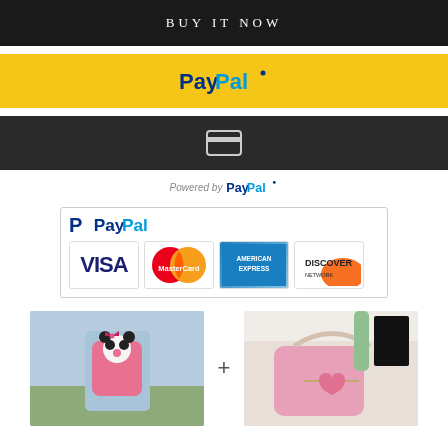[Figure (screenshot): Black button with white text reading BUY IT NOW]
[Figure (screenshot): Yellow PayPal checkout button with PayPal logo]
[Figure (screenshot): Dark grey button with credit card icon]
Powered by PayPal
[Figure (logo): Payment logos box showing PayPal, Visa, MasterCard, American Express, Discover Network]
[Figure (photo): Two product photos side by side - pink panda backpack and pink pearl handbag - separated by a plus sign]